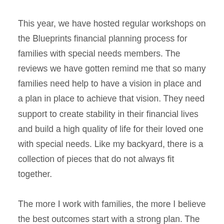This year, we have hosted regular workshops on the Blueprints financial planning process for families with special needs members. The reviews we have gotten remind me that so many families need help to have a vision in place and a plan in place to achieve that vision. They need support to create stability in their financial lives and build a high quality of life for their loved one with special needs. Like my backyard, there is a collection of pieces that do not always fit together.
The more I work with families, the more I believe the best outcomes start with a strong plan. The Building Blocks of the Blueprints process start with taking